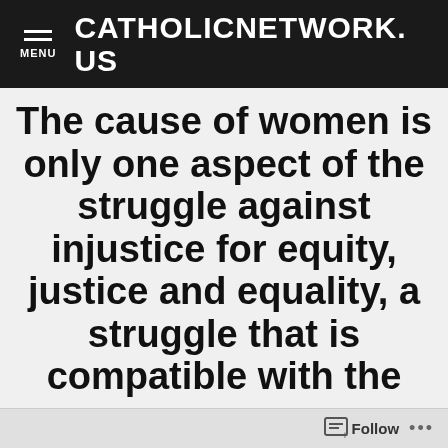CATHOLICNETWORK.US
The cause of women is only one aspect of the struggle against injustice for equity, justice and equality, a struggle that is compatible with the
Follow ...